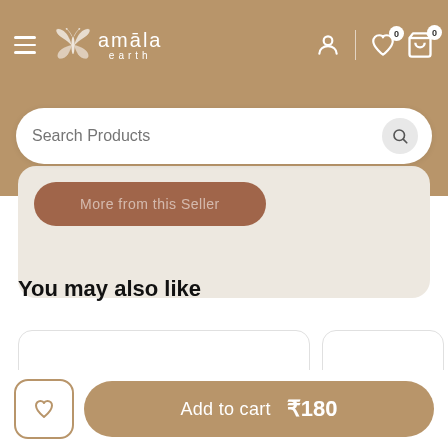[Figure (screenshot): Amala Earth e-commerce website header with logo (butterfly icon and 'amala earth' text), hamburger menu, user/wishlist/cart icons with badge counts 0]
[Figure (screenshot): Search Products search bar with magnifier icon button]
[Figure (screenshot): Partially visible 'More from this seller' button on a beige card background]
You may also like
[Figure (screenshot): Two product cards (one full, one partially visible) below 'You may also like' section]
[Figure (screenshot): Bottom action bar with heart/wishlist button and 'Add to cart ₹180' button]